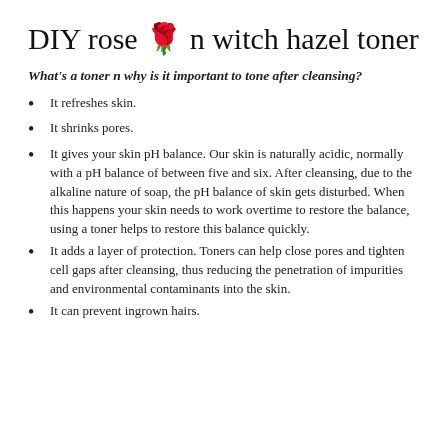DIY rose 🌹 n witch hazel toner
What's a toner n why is it important to tone after cleansing?
It refreshes skin.
It shrinks pores.
It gives your skin pH balance. Our skin is naturally acidic, normally with a pH balance of between five and six. After cleansing, due to the alkaline nature of soap, the pH balance of skin gets disturbed. When this happens your skin needs to work overtime to restore the balance, using a toner helps to restore this balance quickly.
It adds a layer of protection. Toners can help close pores and tighten cell gaps after cleansing, thus reducing the penetration of impurities and environmental contaminants into the skin.
It can prevent ingrown hairs.